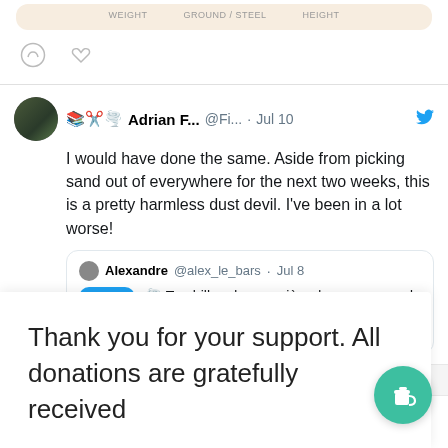[Figure (screenshot): Top of a product card showing WEIGHT, GROUND / STEEL, HEIGHT labels with comment and heart icons below]
[Figure (screenshot): Tweet by Adrian F... (@Fi...) on Jul 10: 'I would have done the same. Aside from picking sand out of everywhere for the next two weeks, this is a pretty harmless dust devil. I've been in a lot worse!' with a quoted tweet from Alexandre @alex_le_bars on Jul 8 showing a play button and text: 'Tourbillon de poussière dans un camp de soldats israéliens']
Thank you for your support. All donations are gratefully received
7
Even the opportunist rats are leaving the